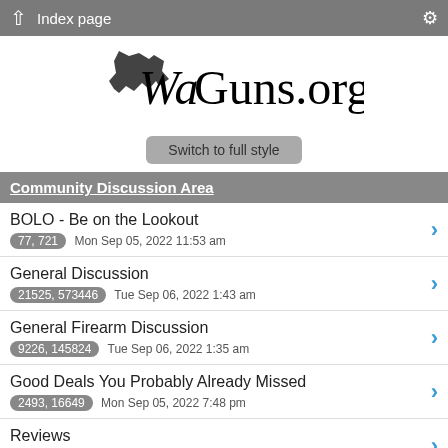Index page
[Figure (logo): WaGuns.org logo with Washington state silhouette]
Switch to full style
Community Discussion Area
BOLO - Be on the Lookout | 77, 721 Mon Sep 05, 2022 11:53 am
General Discussion | 21525, 573446 Tue Sep 06, 2022 1:43 am
General Firearm Discussion | 9226, 145824 Tue Sep 06, 2022 1:35 am
Good Deals You Probably Already Missed | 2493, 16649 Mon Sep 05, 2022 7:48 pm
Reviews | 993, 10295 Mon Sep 05, 2022 11:49 am
WaGuns Member-Owned Businesses / Services | 92, 704 Tue Aug 30, 2022 9:46 pm